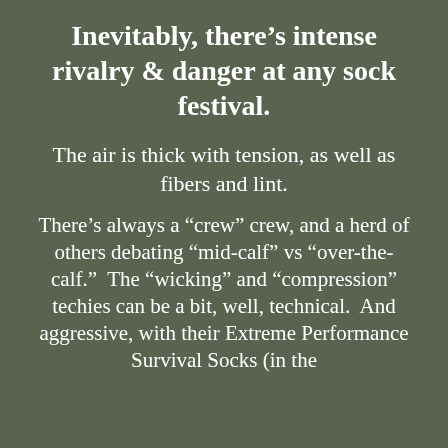Inevitably, there’s intense rivalry & danger at any sock festival.
The air is thick with tension, as well as fibers and lint.
There’s always a “crew” crew, and a herd of others debating “mid-calf” vs “over-the-calf.”  The “wicking” and “compression” techies can be a bit, well, technical.  And aggressive, with their Extreme Performance Survival Socks (in the